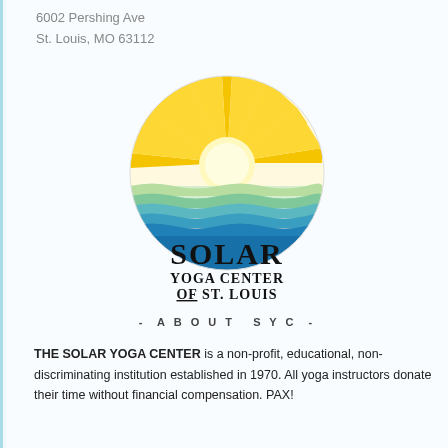6002 Pershing Ave
St. Louis, MO 63112
[Figure (logo): Solar Yoga Center of St. Louis logo: circular sun with radiating yellow/gold rays above wavy water lines in green and blue, with text 'SOLAR YOGA CENTER OF ST. LOUIS' below]
- ABOUT SYC -
THE SOLAR YOGA CENTER is a non-profit, educational, non-discriminating institution established in 1970. All yoga instructors donate their time without financial compensation. PAX!